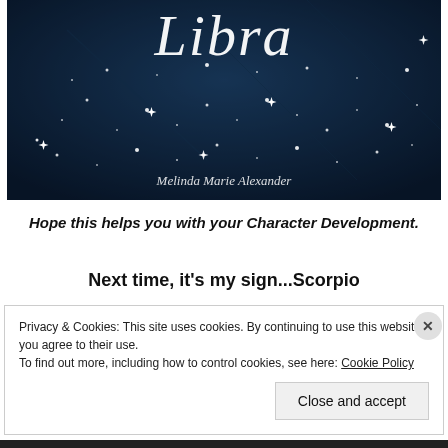[Figure (illustration): Book cover image showing a dark blue night sky with stars and sparkles. White cursive/script text reading 'Libra' at the top. Author name 'Melinda Marie Alexander' in cursive at the bottom center of the image.]
Hope this helps you with your Character Development.
Next time, it's my sign...Scorpio
Privacy & Cookies: This site uses cookies. By continuing to use this website, you agree to their use.
To find out more, including how to control cookies, see here: Cookie Policy
Close and accept